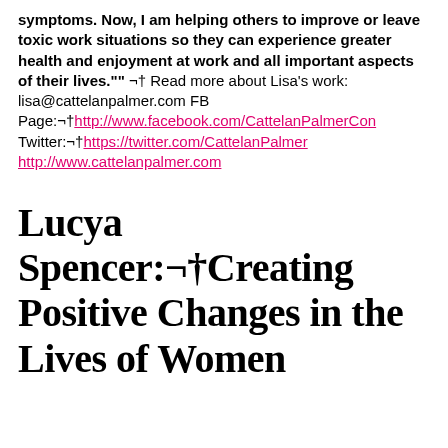symptoms. Now, I am helping others to improve or leave toxic work situations so they can experience greater health and enjoyment at work and all important aspects of their lives."" ¬† Read more about Lisa's work: lisa@cattelanpalmer.com FB Page:¬†http://www.facebook.com/CattelanPalmerCon Twitter:¬†https://twitter.com/CattelanPalmer http://www.cattelanpalmer.com
Lucya Spencer:¬†Creating Positive Changes in the Lives of Women